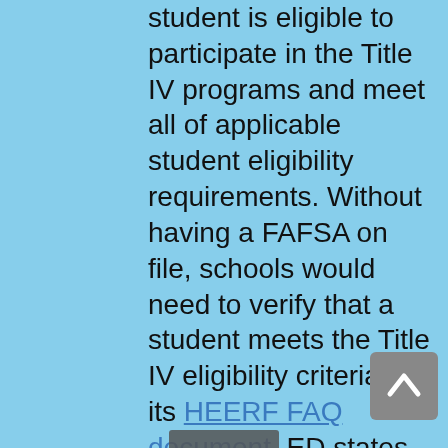student is eligible to participate in the Title IV programs and meet all of applicable student eligibility requirements. Without having a FAFSA on file, schools would need to verify that a student meets the Title IV eligibility criteria. In its HEERF FAQ document, ED states the following: "The criteria to participate in programs under Section 484 of the [Higher Education Act (HEA)] include but are not limited to the following: U.S. citizenship or eligible noncitizen; a valid Social Security number; registration with Selective Service (if the student is male); and a high school diploma, GED, or completion of high school in an approved homeschool setting." Beyond this guidance a school will